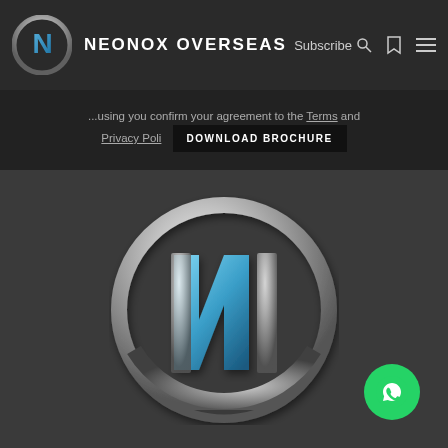[Figure (logo): Neonox Overseas logo: silver circular ring with blue and silver N letter inside, small version in navbar]
NEONOX OVERSEAS
Subscribe
...using you confirm your agreement to the Terms and Privacy Policy
DOWNLOAD BROCHURE
[Figure (logo): Neonox Overseas large logo: silver circular ring with blue and silver styled N letter inside, centered on dark gray background]
[Figure (other): WhatsApp chat button: green circle with white WhatsApp phone/chat icon, positioned bottom right]